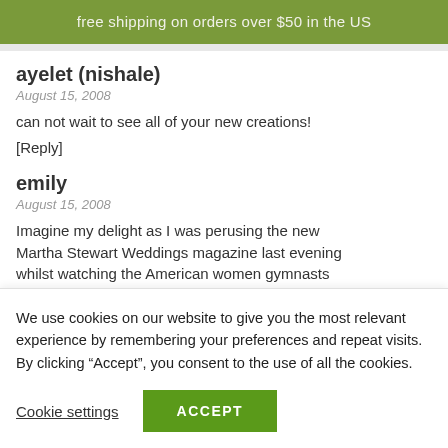free shipping on orders over $50 in the US
ayelet (nishale)
August 15, 2008
can not wait to see all of your new creations!
[Reply]
emily
August 15, 2008
Imagine my delight as I was perusing the new Martha Stewart Weddings magazine last evening whilst watching the American women gymnasts
We use cookies on our website to give you the most relevant experience by remembering your preferences and repeat visits. By clicking “Accept”, you consent to the use of all the cookies.
Cookie settings
ACCEPT